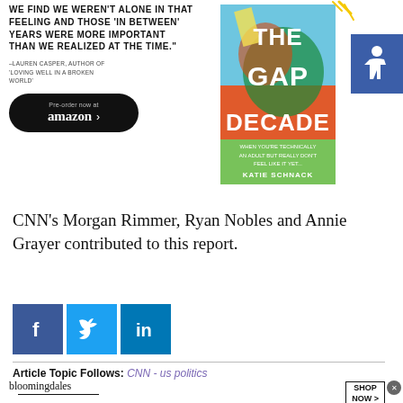[Figure (illustration): Book advertisement for 'The Gap Decade' by Katie Schnack with quote from Lauren Casper, Amazon pre-order button, and book cover image with colorful design.]
CNN's Morgan Rimmer, Ryan Nobles and Annie Grayer contributed to this report.
[Figure (other): Social media share icons: Facebook, Twitter, LinkedIn]
Article Topic Follows: CNN - us politics
[Figure (other): Bloomingdale's advertisement: View Today's Top Deals! SHOP NOW >]